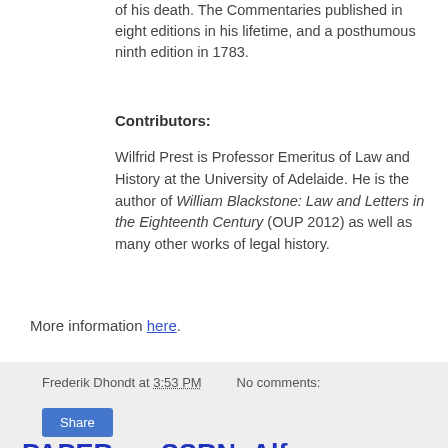of his death. The Commentaries published in eight editions in his lifetime, and a posthumous ninth edition in 1783.
Contributors:
Wilfrid Prest is Professor Emeritus of Law and History at the University of Adelaide. He is the author of William Blackstone: Law and Letters in the Eighteenth Century (OUP 2012) as well as many other works of legal history.
More information here.
Frederik Dhondt at 3:53 PM   No comments:
Share
PAPER on SSRN: Alfons ARAGONESES, "Convivencia and Filosefardismo in Spanish Nation-